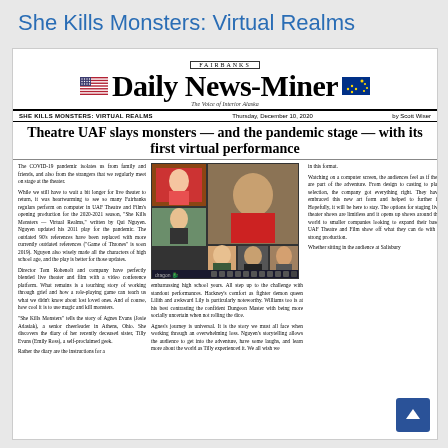She Kills Monsters: Virtual Realms
[Figure (screenshot): Fairbanks Daily News-Miner newspaper page screenshot showing a review of Theatre UAF's 'She Kills Monsters: Virtual Realms'. Includes newspaper masthead, article headline, body text in three columns, and a photo of virtual video conference performance with multiple participants on screen.]
Theatre UAF slays monsters — and the pandemic stage — with its first virtual performance
SHE KILLS MONSTERS: VIRTUAL REALMS   Thursday, December 10, 2020   by Scott Wiser
The COVID-19 pandemic isolates us from family and friends, and also from the strangers that we regularly meet on stage at the theater.

While we still have to wait a bit longer for live theater to return, it was heartwarming to see so many Fairbanks regulars perform on computer in UAF Theatre and Film's opening production for the 2020-2021 season, "She Kills Monsters — Virtual Realms," written by Qui Nguyen. Nguyen updated his 2011 play for the pandemic. The outdated 90's references have been replaced with more currently outdated references ("Game of Thrones" is soon 2019). Nguyen also wisely made all the characters of high school age, and the play is better for those updates.

Director Tom Robenolt and company have perfectly blended live theater and film with a video conference platform. What remains is a touching story of working through grief and how a role-playing game can teach us what we didn't know about lost loved ones. And of course, how cool it is to use magic and kill monsters.

"She Kills Monsters" tells the story of Agnes Evans (Josie Adasiak), a senior cheerleader in Athens, Ohio. She discovers the diary of her recently deceased sister, Tilly Evans (Emily Ross), a self-proclaimed geek.

Rather the diary are the instructions for a
embarrassing high school years. All step up to the challenge with standout performances. Hackney's comfort as fighter demon queen Lilith and awkward Lily is particularly noteworthy. Williams too is at his best contrasting the confident Dungeon Master with being more socially uncertain when not rolling the dice.

Agnes's journey is universal. It is the story we must all face when working through an overwhelming loss. Nguyen's storytelling allows the audience to get into the adventure, have some laughs, and learn more about the world as Tilly experienced it. We all wish we
in this format.

Watching on a computer screen, the audiences feel as if they are part of the adventure. From design to casting to play selection, the company got everything right. They have embraced this new art form and helped to further it. Hopefully, it will be here to stay. The options for staging live theater shows are limitless and it opens up shows around the world to smaller companies looking to expand their base. UAF Theatre and Film show off what they can do with a strong production.

Whether sitting in the audience at Salisbury